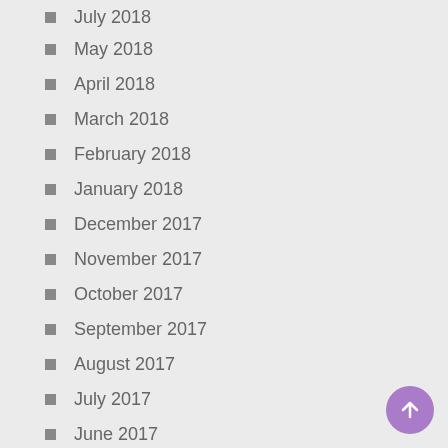July 2018
May 2018
April 2018
March 2018
February 2018
January 2018
December 2017
November 2017
October 2017
September 2017
August 2017
July 2017
June 2017
April 2017
March 2017